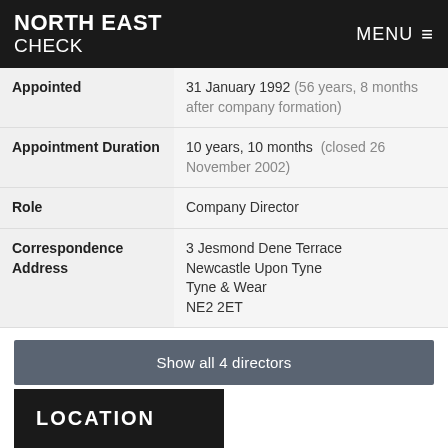NORTH EAST CHECK | MENU
| Field | Value |
| --- | --- |
| Appointed | 31 January 1992 (56 years, 8 months after company formation) |
| Appointment Duration | 10 years, 10 months (closed 26 November 2002) |
| Role | Company Director |
| Correspondence Address | 3 Jesmond Dene Terrace
Newcastle Upon Tyne
Tyne & Wear
NE2 2ET |
Show all 4 directors
LOCATION